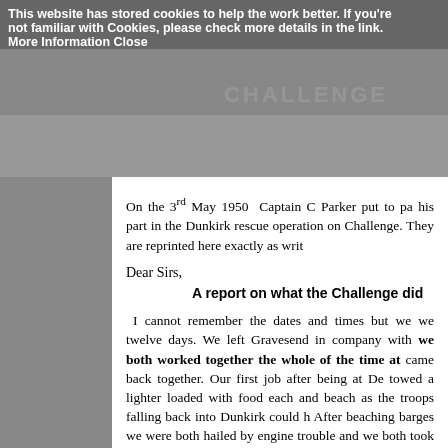This website has stored cookies to help the work better. If you're not familiar with Cookies, please check more details in the link. More Information Close
On the 3rd May 1950  Captain C Parker put to pa his part in the Dunkirk rescue operation on Challenge. They are reprinted here exactly as writ
Dear Sirs,
A report on what the Challenge did
I cannot remember the dates and times but we we twelve days. We left Gravesend in company with we both worked together the whole of the time at came back together. Our first job after being at De towed a lighter loaded with food each and beach as the troops falling back into Dunkirk could h After beaching barges we were both hailed by engine trouble and we both took hold and swunp